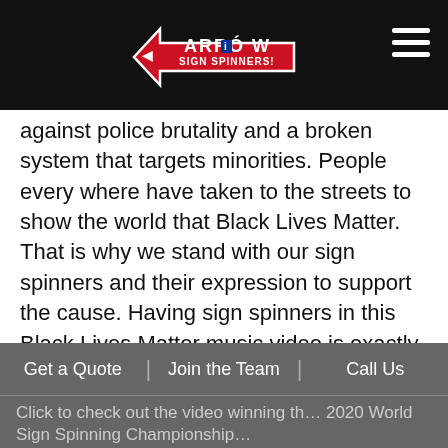[Figure (logo): Arrow Sign Spinners logo with red arrow shape and text on black navigation bar]
against police brutality and a broken system that targets minorities. People every where have taken to the streets to show the world that Black Lives Matter. That is why we stand with our sign spinners and their expression to support the cause. Having sign spinners in this Black Lives Matter music video is exactly the type of energy our spinners are known for. Something magical happens when people come together.
https://youtu.be/ZqQ1oRnykpA
Click here to check out more Black Lives Matter Sign Spinning
Get a Quote | Join the Team | Call Us